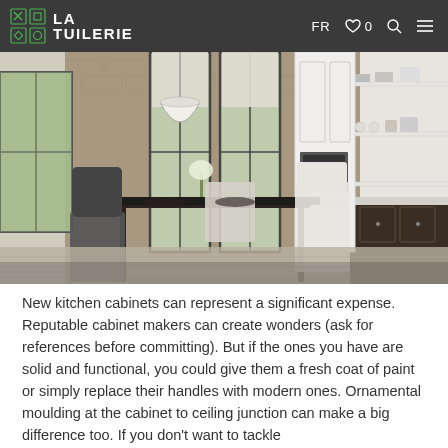LA TUILERIE | FR ♡ 0 🔍 ≡
[Figure (photo): Modern kitchen and dining area with dark wood cabinets, brick wall, pendant light, set dining table with flowers, and open shelving displaying dishware.]
New kitchen cabinets can represent a significant expense. Reputable cabinet makers can create wonders (ask for references before committing). But if the ones you have are solid and functional, you could give them a fresh coat of paint or simply replace their handles with modern ones. Ornamental moulding at the cabinet to ceiling junction can make a big difference too. If you don't want to tackle the work yourself, you can find a kitchen specialist that...